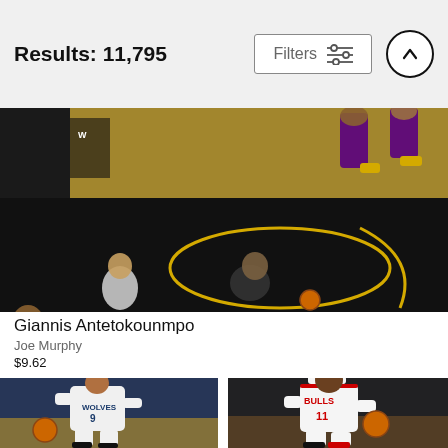Results: 11,795
[Figure (photo): Basketball game aerial/wide shot showing players on a dark court with yellow circle markings, likely featuring Giannis Antetokounmpo]
Giannis Antetokounmpo
Joe Murphy
$9.62
[Figure (photo): Basketball player wearing Minnesota Timberwolves white jersey #9 dribbling the ball]
[Figure (photo): Basketball player wearing Chicago Bulls white jersey #11 with headband dribbling the ball]